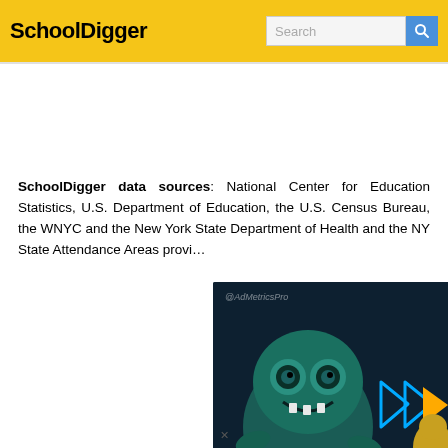SchoolDigger
SchoolDigger data sources: National Center for Education Statistics, U.S. Department of Education, the U.S. Census Bureau, the WNYC and the New York State Department of Health and the NY State Attendance Areas provi...
[Figure (other): Video ad overlay with cartoon monster character from AdMetricsPro, with play controls and mute button. Close (X) button in upper right.]